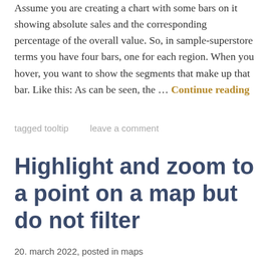Assume you are creating a chart with some bars on it showing absolute sales and the corresponding percentage of the overall value. So, in sample-superstore terms you have four bars, one for each region. When you hover, you want to show the segments that make up that bar. Like this: As can be seen, the … Continue reading
tagged tooltip    leave a comment
Highlight and zoom to a point on a map but do not filter
20. march 2022, posted in maps